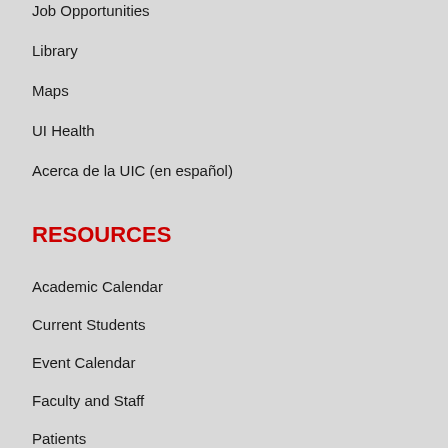Job Opportunities
Library
Maps
UI Health
Acerca de la UIC (en español)
RESOURCES
Academic Calendar
Current Students
Event Calendar
Faculty and Staff
Patients
UIC Today
Visit & Directions
Clery Compliance
Nondiscrimination Policy
Title IX...